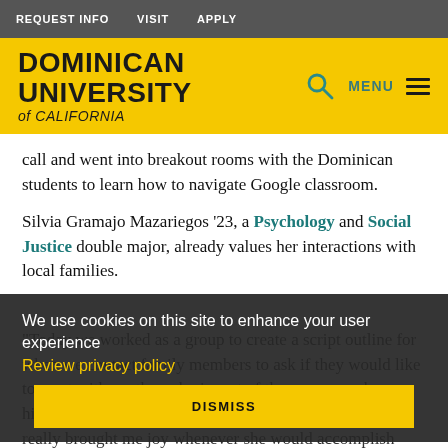REQUEST INFO   VISIT   APPLY
[Figure (logo): Dominican University of California logo with yellow background, teal search icon, MENU label and hamburger icon]
call and went into breakout rooms with the Dominican students to learn how to navigate Google classroom.
Silvia Gramajo Mazariegos '23, a Psychology and Social Justice double major, already values her interactions with local families.
“Today we worked as a group to create a script outline for when we contact family members to ask if they would like to meet with another who is part of the program who was historically aware. I could tell that what we were doing really brought me joy whenever she would accomplish
We use cookies on this site to enhance your user experience
Review privacy policy
DISMISS